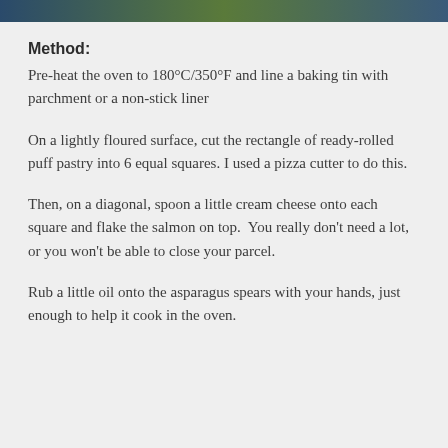[Figure (photo): Partial image of food visible at top of page as a colored bar]
Method:
Pre-heat the oven to 180°C/350°F and line a baking tin with parchment or a non-stick liner
On a lightly floured surface, cut the rectangle of ready-rolled puff pastry into 6 equal squares. I used a pizza cutter to do this.
Then, on a diagonal, spoon a little cream cheese onto each square and flake the salmon on top.  You really don't need a lot, or you won't be able to close your parcel.
Rub a little oil onto the asparagus spears with your hands, just enough to help it cook in the oven.